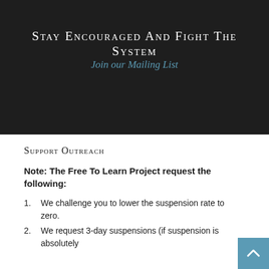Stay Encouraged And Fight The System
Join our Mailing List
Support Outreach
Note: The Free To Learn Project request the following:
1. We challenge you to lower the suspension rate to zero.
2. We request 3-day suspensions (if suspension is absolutely